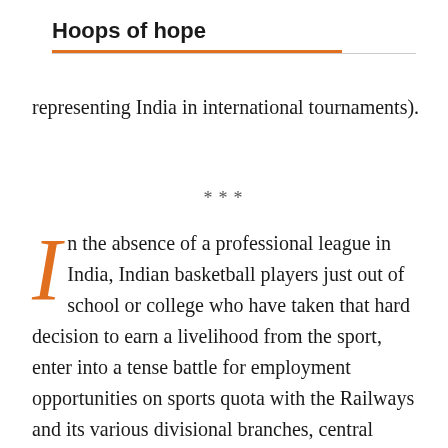Hoops of hope
representing India in international tournaments).
***
In the absence of a professional league in India, Indian basketball players just out of school or college who have taken that hard decision to earn a livelihood from the sport, enter into a tense battle for employment opportunities on sports quota with the Railways and its various divisional branches, central banks (such as Indian Overseas Bank and Vijaya Bank), public telecom companies